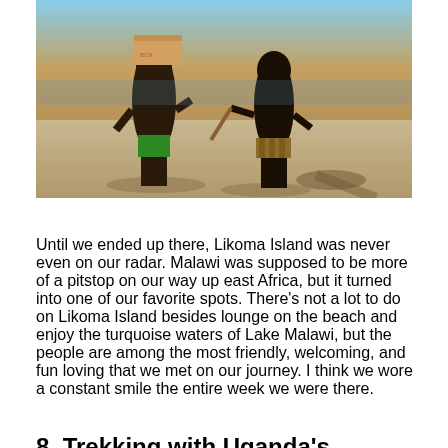[Figure (photo): Two children on a sandy beach; one carries a box on their head, the other holds a stick. Sandy shore with water visible in background.]
Until we ended up there, Likoma Island was never even on our radar. Malawi was supposed to be more of a pitstop on our way up east Africa, but it turned into one of our favorite spots. There's not a lot to do on Likoma Island besides lounge on the beach and enjoy the turquoise waters of Lake Malawi, but the people are among the most friendly, welcoming, and fun loving that we met on our journey. I think we wore a constant smile the entire week we were there.
8. Trekking with Uganda's Mountain Gorillas